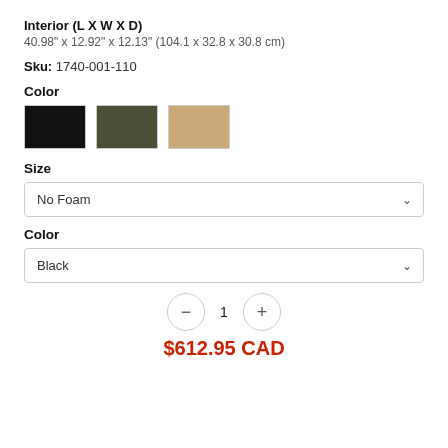Interior (L X W X D)
40.98" x 12.92" x 12.13" (104.1 x 32.8 x 30.8 cm)
Sku: 1740-001-110
Color
[Figure (other): Three color swatches: black, olive/green, and tan/beige]
Size
No Foam
Color
Black
1
$612.95 CAD